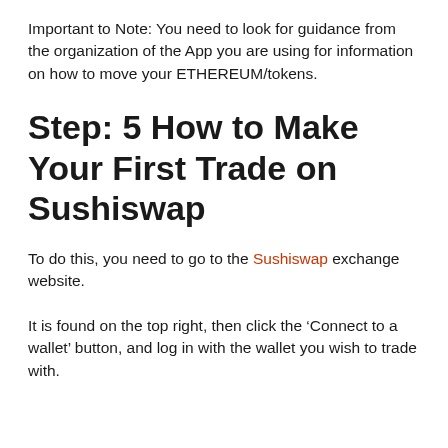Important to Note: You need to look for guidance from the organization of the App you are using for information on how to move your ETHEREUM/tokens.
Step: 5 How to Make Your First Trade on Sushiswap
To do this, you need to go to the Sushiswap exchange website.
It is found on the top right, then click the 'Connect to a wallet' button, and log in with the wallet you wish to trade with.